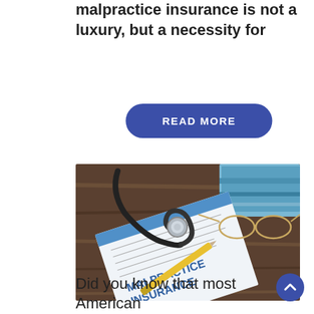malpractice insurance is not a luxury, but a necessity for
READ MORE
[Figure (photo): A malpractice insurance form document on a wooden desk with a stethoscope, blue books, eyeglasses, and a yellow pen]
Did you know that most American